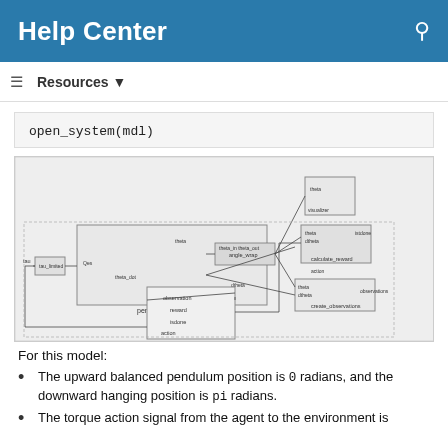Help Center
Resources
open_system(mdl)
[Figure (schematic): Simulink block diagram showing a pendulum model with blocks including: pendulum, angle_wrap, calculate_reward, create_observations, tau_limited, and an RL agent block with observation, reward, and action ports. Blocks are connected with signal lines.]
For this model:
The upward balanced pendulum position is 0 radians, and the downward hanging position is pi radians.
The torque action signal from the agent to the environment is